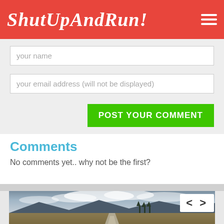ShutUpAndRun!
your name
your email address (will not be displayed)
POST YOUR COMMENT
Comments
No comments yet.. why not be the first?
[Figure (photo): Landscape photograph showing a rural gravel path leading into a scenic highland valley with mountains, trees, and dramatic cloudy sky]